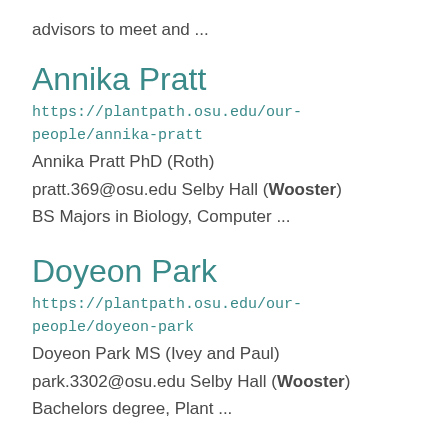advisors to meet and ...
Annika Pratt
https://plantpath.osu.edu/our-people/annika-pratt
Annika Pratt PhD (Roth)
pratt.369@osu.edu Selby Hall (Wooster)
BS Majors in Biology, Computer ...
Doyeon Park
https://plantpath.osu.edu/our-people/doyeon-park
Doyeon Park MS (Ivey and Paul)
park.3302@osu.edu Selby Hall (Wooster)
Bachelors degree, Plant ...
...